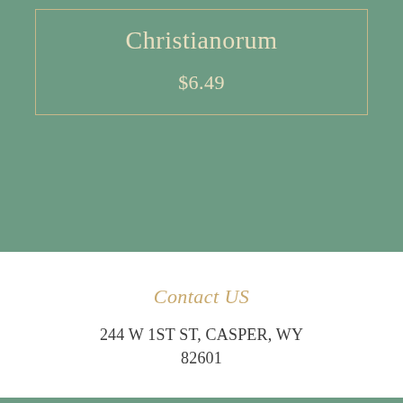Christianorum
$6.49
Contact US
244 W 1ST ST, CASPER, WY 82601